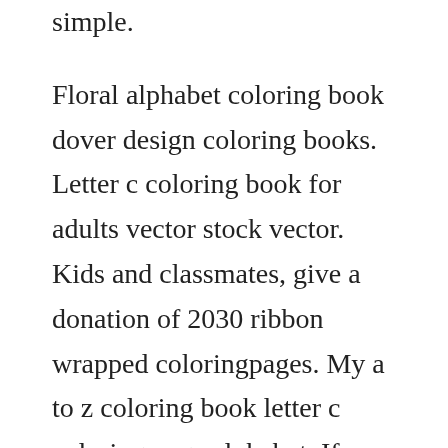simple.
Floral alphabet coloring book dover design coloring books. Letter c coloring book for adults vector stock vector. Kids and classmates, give a donation of 2030 ribbon wrapped coloringpages. My a to z coloring book letter c coloring page alphabet. If you like these itsy bitsy books you might like to have a look at the themed itsy bitsy books visit dltks alphabuddies for printable crafts, coloring pages, felt board templates, tracer pages and poems to supplement these letter recognition alphabets. Dont forget to be in